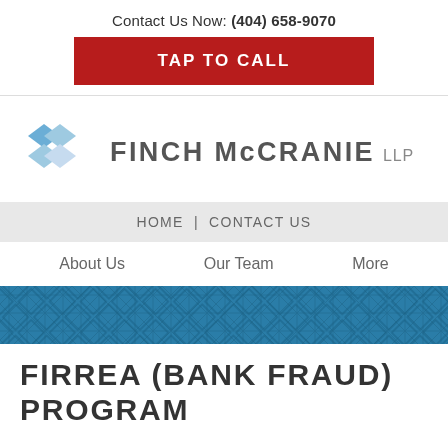Contact Us Now: (404) 658-9070
TAP TO CALL
[Figure (logo): Finch McCranie LLP logo with diamond/rhombus icon in light blue and blue colors]
HOME | CONTACT US
About Us   Our Team   More
[Figure (other): Blue decorative banner with diagonal diamond pattern]
FIRREA (BANK FRAUD) PROGRAM